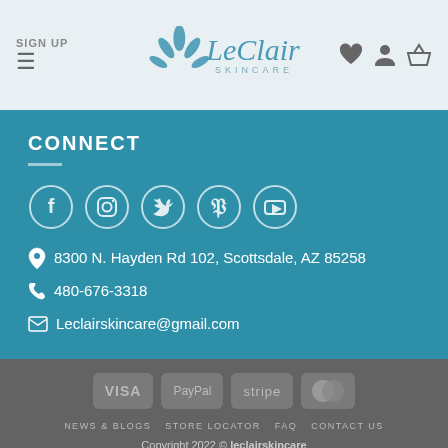SIGN UP | LeClair Skincare
CONNECT
[Figure (infographic): Social media icons: Facebook, Instagram, Twitter, Pinterest, YouTube - white circles on teal background]
8300 N. Hayden Rd 102, Scottsdale, AZ 85258
480-676-3318
Leclairskincare@gmail.com
[Figure (infographic): Payment method badges: VISA, PayPal, stripe, MasterCard]
NEWS & BLOGS   STORE LOCATOR   FAQ   CONTACT US
Copyright 2022 © leclairskincare